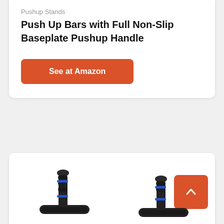Pushup Stands
Push Up Bars with Full Non-Slip Baseplate Pushup Handle
[Figure (other): Orange 'See at Amazon' button linking to product listing]
[Figure (photo): Push up bars / handles with black foam grip and blue accent rings, product photo for second listing card]